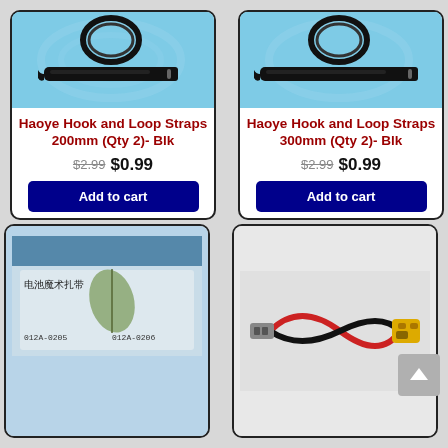[Figure (photo): Product photo of Haoye Hook and Loop Straps 200mm black, showing velcro cable tie strap on blue background]
Haoye Hook and Loop Straps 200mm (Qty 2)- Blk
$2.99 $0.99
Add to cart
[Figure (photo): Product photo of Haoye Hook and Loop Straps 300mm black, showing velcro cable tie strap on blue background]
Haoye Hook and Loop Straps 300mm (Qty 2)- Blk
$2.99 $0.99
Add to cart
[Figure (photo): Product card partially visible, showing a product with Chinese text and product code 012A-0205]
[Figure (photo): Product card partially visible, showing a yellow XT connector with red and black wires]